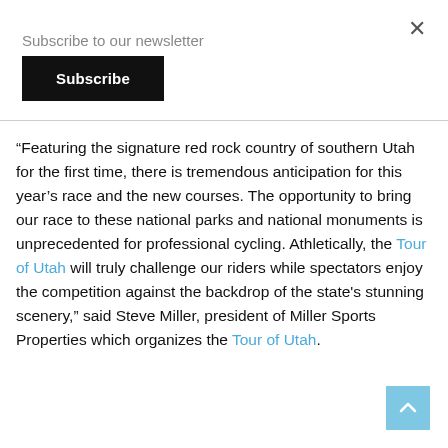Subscribe to our newsletter
Subscribe
“Featuring the signature red rock country of southern Utah for the first time, there is tremendous anticipation for this year’s race and the new courses. The opportunity to bring our race to these national parks and national monuments is unprecedented for professional cycling. Athletically, the Tour of Utah will truly challenge our riders while spectators enjoy the competition against the backdrop of the state’s stunning scenery,” said Steve Miller, president of Miller Sports Properties which organizes the Tour of Utah.